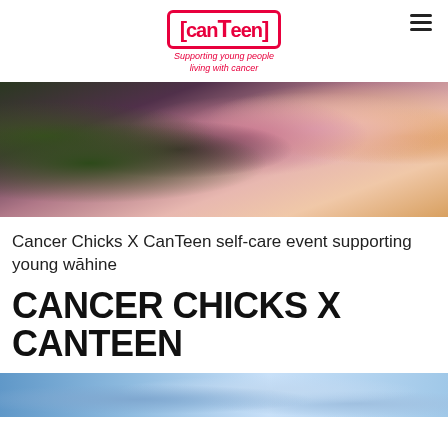[Figure (logo): CanTeen logo with red border and tagline 'Supporting young people living with cancer']
[Figure (photo): Person with flowers in background - hero image for Cancer Chicks X CanTeen article]
Cancer Chicks X CanTeen self-care event supporting young wāhine
CANCER CHICKS X CANTEEN
[Figure (photo): Partial view of second image at bottom of page]